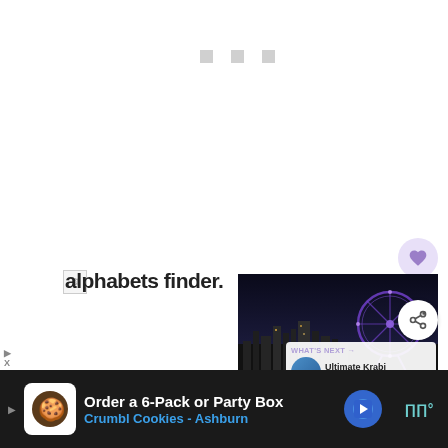[Figure (screenshot): Web page screenshot showing a loading/blank white content area with three small grey squares near the top, overlapping broken text reading 'alphabets finder.' with a broken image icon, a night cityscape photo of Singapore with Ferris wheel, a heart button, a share button with 1K count, a 'WHAT'S NEXT' panel showing 'Ultimate Krabi 4 Day...' article, and a Crumbl Cookies advertisement banner at the bottom.]